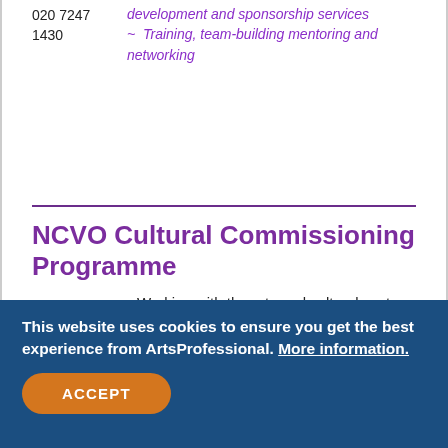020 7247 1430
development and sponsorship services ~ Training, team-building mentoring and networking
NCVO Cultural Commissioning Programme
[Figure (logo): Cultural Commissioning Programme logo with starburst graphic]
Working with the arts and cultural sector, commissioners and policy makers to
This website uses cookies to ensure you get the best experience from ArtsProfessional. More information.
ACCEPT